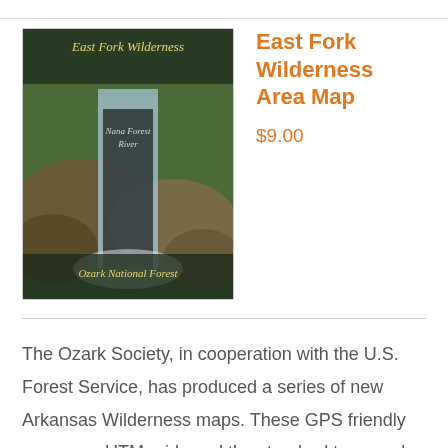[Figure (photo): Book cover of East Fork Wilderness map showing a waterfall over rocks with text 'East Fork Wilderness', 'Ozark National Forest']
East Fork Wilderness Area Map
$9.00
The Ozark Society, in cooperation with the U.S. Forest Service, has produced a series of new Arkansas Wilderness maps. These GPS friendly maps use UTM grids and the standard topo scale of 1:24,000. The Ozark Highland Trail and private inholdings